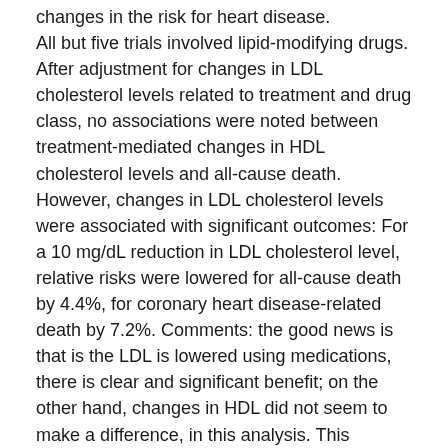(...) changes in the risk for heart disease. All but five trials involved lipid-modifying drugs. After adjustment for changes in LDL cholesterol levels related to treatment and drug class, no associations were noted between treatment-mediated changes in HDL cholesterol levels and all-cause death. However, changes in LDL cholesterol levels were associated with significant outcomes: For a 10 mg/dL reduction in LDL cholesterol level, relative risks were lowered for all-cause death by 4.4%, for coronary heart disease-related death by 7.2%. Comments: the good news is that is the LDL is lowered using medications, there is clear and significant benefit; on the other hand, changes in HDL did not seem to make a difference, in this analysis. This analysis may not reveal hidden benefits for increasing HDL, but it makes it clear that the goal of treatment should be lowering LDL. BA